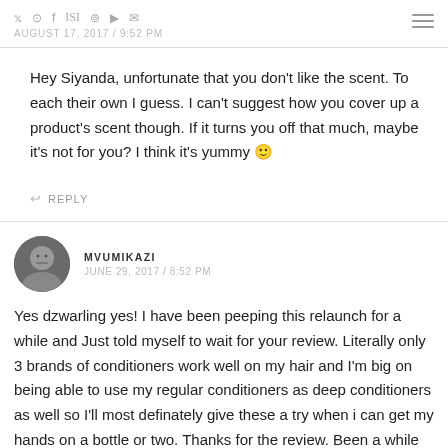AUGUST 17, 2017 / 9:52 PM
Hey Siyanda, unfortunate that you don't like the scent. To each their own I guess. I can't suggest how you cover up a product's scent though. If it turns you off that much, maybe it's not for you? I think it's yummy 🙂
↩ REPLY
MVUMIKAZI
JUNE 29, 2017 / 8:52 PM
Yes dzwarling yes! I have been peeping this relaunch for a while and Just told myself to wait for your review. Literally only 3 brands of conditioners work well on my hair and I'm big on being able to use my regular conditioners as deep conditioners as well so I'll most definately give these a try when i can get my hands on a bottle or two. Thanks for the review. Been a while since I've been around these here parts but I'll be sure not to go missing the way I